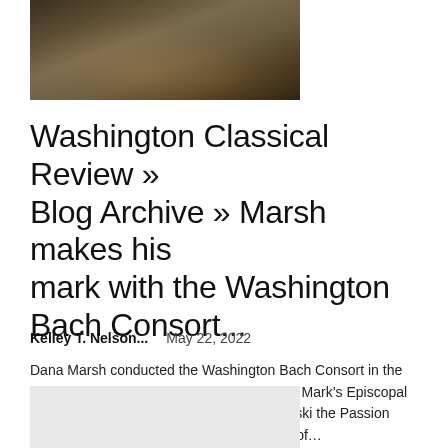[Figure (photo): Concert or performance scene showing a large audience and performers in a church or hall setting, viewed from behind the audience.]
Washington Classical Review » Blog Archive » Marsh makes his mark with the Washington Bach Consort...
Kelley T. Nelson...   May 22, 2022
Dana Marsh conducted the Washington Bach Consort in the “St. Matthew Passion” Saturday night at St. Mark’s Episcopal Church on Capitol Hill. Photo: Kate Wichlinski the Passion according to Saint Matthew is the pinnacle of...
[Figure (photo): Partially visible image at the bottom of the page, showing a gray/light background, cropped.]